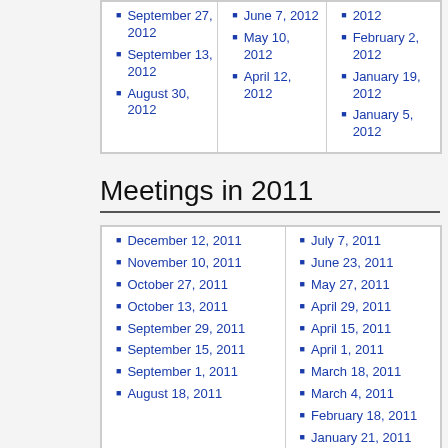| September 27, 2012
September 13, 2012
August 30, 2012 | June 7, 2012
May 10, 2012
April 12, 2012 | 2012
February 2, 2012
January 19, 2012
January 5, 2012 |
Meetings in 2011
| December 12, 2011
November 10, 2011
October 27, 2011
October 13, 2011
September 29, 2011
September 15, 2011
September 1, 2011
August 18, 2011 | July 7, 2011
June 23, 2011
May 27, 2011
April 29, 2011
April 15, 2011
April 1, 2011
March 18, 2011
March 4, 2011
February 18, 2011
January 21, 2011 |